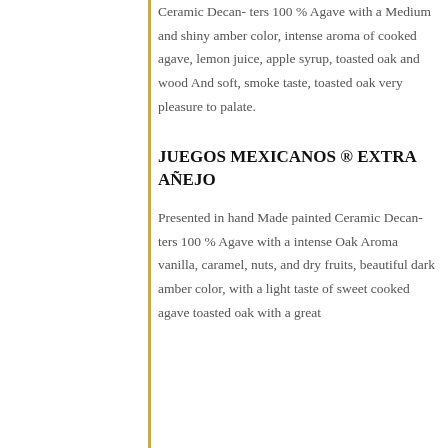Ceramic Decan- ters 100 % Agave with a Medium and shiny amber color, intense aroma of cooked agave, lemon juice, apple syrup, toasted oak and wood And soft, smoke taste, toasted oak very pleasure to palate.
JUEGOS MEXICANOS ® EXTRA AÑEJO
Presented in hand Made painted Ceramic Decan- ters 100 % Agave with a intense Oak Aroma vanilla, caramel, nuts, and dry fruits, beautiful dark amber color, with a light taste of sweet cooked agave toasted oak with a great